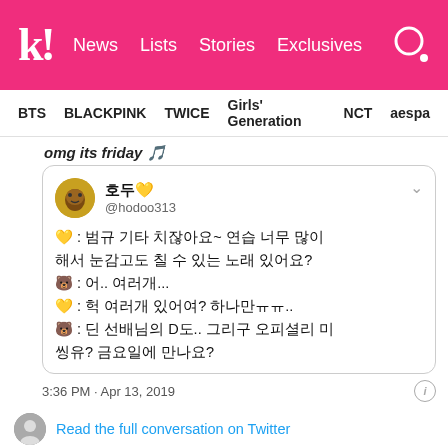k! News Lists Stories Exclusives
BTS BLACKPINK TWICE Girls' Generation NCT aespa
omg its friday 🎵
[Figure (screenshot): Tweet from 호두💛 @hodoo313 containing Korean text conversation about Beomgyu playing guitar with emojis]
3:36 PM · Apr 13, 2019
Read the full conversation on Twitter
256 Reply Copy link